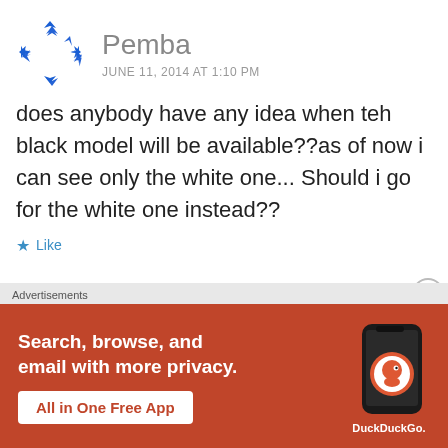[Figure (illustration): Blue circular arrow spinner/loading icon made of triangular arrow shapes arranged in a circle]
Pemba
JUNE 11, 2014 AT 1:10 PM
does anybody have any idea when teh black model will be available??as of now i can see only the white one... Should i go for the white one instead??
★ Like
Advertisements
[Figure (screenshot): DuckDuckGo advertisement banner with orange/red background. Text: Search, browse, and email with more privacy. All in One Free App. Shows DuckDuckGo logo and phone mockup.]